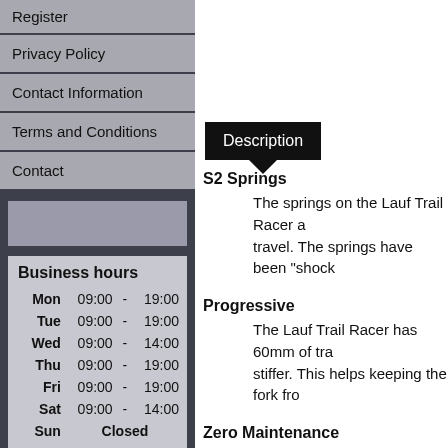Register
Privacy Policy
Contact Information
Terms and Conditions
Contact
| Day | Open |  | Close |
| --- | --- | --- | --- |
| Mon | 09:00 | - | 19:00 |
| Tue | 09:00 | - | 19:00 |
| Wed | 09:00 | - | 14:00 |
| Thu | 09:00 | - | 19:00 |
| Fri | 09:00 | - | 19:00 |
| Sat | 09:00 | - | 14:00 |
| Sun | Closed |  |  |
Description
S2 Springs
The springs on the Lauf Trail Racer a... travel. The springs have been "shock...
Progressive
The Lauf Trail Racer has 60mm of tra... stiffer. This helps keeping the fork fro...
Zero Maintenance
The design of the Lauf Trail Racer is... carbon fiber structure delivers incr...